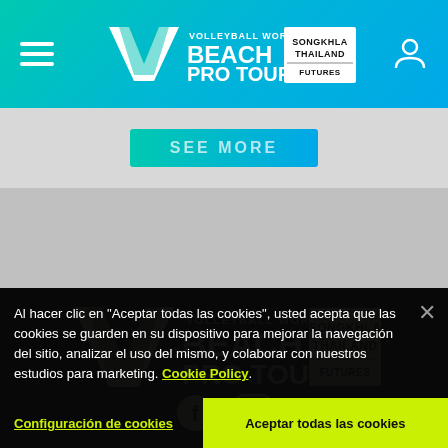[Figure (screenshot): Navigation bar with hamburger menu, Volleyball World Beach Pro Tour Songkhla Thailand Futures logo, and user account icon on teal/cyan gradient background]
[Figure (screenshot): Partially visible 'SEE MORE' button on gray background]
[Figure (logo): Volleyball World Beach Pro Tour Songkhla Thailand Futures logo in cream/beige on black background]
[Figure (screenshot): Social media icons (Facebook, Instagram) in cream color on black background]
Al hacer clic en "Aceptar todas las cookies", usted acepta que las cookies se guarden en su dispositivo para mejorar la navegación del sitio, analizar el uso del mismo, y colaborar con nuestros estudios para marketing. Cookie Policy.
Configuración de cookies
Aceptar todas las cookies